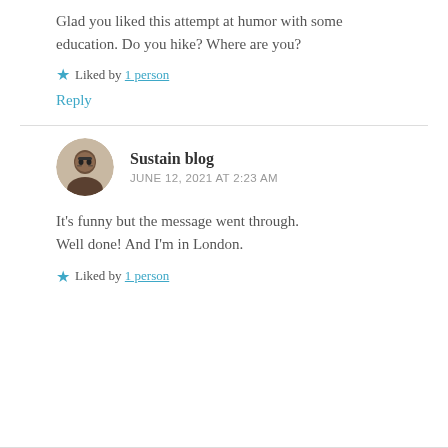Glad you liked this attempt at humor with some education. Do you hike? Where are you?
★ Liked by 1 person
Reply
Sustain blog
JUNE 12, 2021 AT 2:23 AM
It's funny but the message went through. Well done! And I'm in London.
★ Liked by 1 person